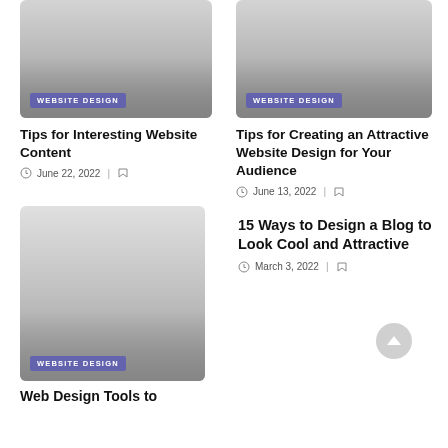[Figure (photo): Gray thumbnail image with WEBSITE DESIGN badge overlay]
Tips for Interesting Website Content
June 22, 2022
[Figure (photo): Gray thumbnail image with WEBSITE DESIGN badge overlay]
Tips for Creating an Attractive Website Design for Your Audience
June 13, 2022
15 Ways to Design a Blog to Look Cool and Attractive
March 3, 2022
[Figure (photo): Gray thumbnail image with WEBSITE DESIGN badge overlay]
Web Design Tools to